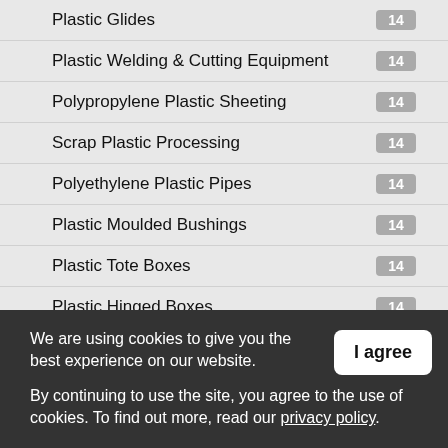Plastic Glides 14
Plastic Welding & Cutting Equipment 14
Polypropylene Plastic Sheeting 14
Scrap Plastic Processing 14
Polyethylene Plastic Pipes 14
Plastic Moulded Bushings 14
Plastic Tote Boxes 14
Plastic Hinged Boxes 14
Plastic Composites 14
We are using cookies to give you the best experience on our website. By continuing to use the site, you agree to the use of cookies. To find out more, read our privacy policy.